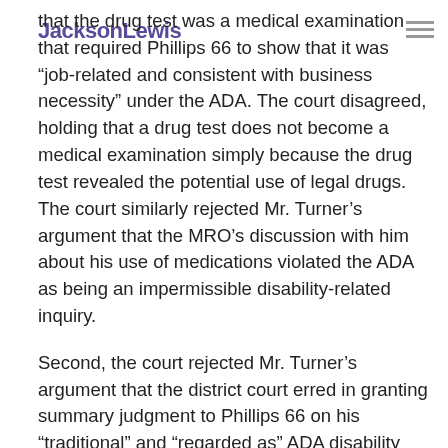JacksonLewis
that the drug test was a medical examination that required Phillips 66 to show that it was “job-related and consistent with business necessity” under the ADA. The court disagreed, holding that a drug test does not become a medical examination simply because the drug test revealed the potential use of legal drugs. The court similarly rejected Mr. Turner’s argument that the MRO’s discussion with him about his use of medications violated the ADA as being an impermissible disability-related inquiry.
Second, the court rejected Mr. Turner’s argument that the district court erred in granting summary judgment to Phillips 66 on his “traditional” and “regarded as” ADA disability discrimination claims. The court affirmed the district court’s determination that Phillips 66 had set forth a legitimate, non-